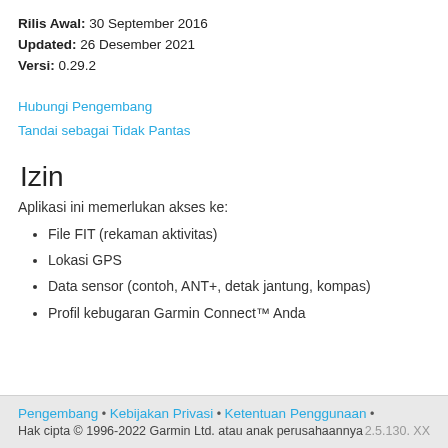Rilis Awal: 30 September 2016
Updated: 26 Desember 2021
Versi: 0.29.2
Hubungi Pengembang
Tandai sebagai Tidak Pantas
Izin
Aplikasi ini memerlukan akses ke:
File FIT (rekaman aktivitas)
Lokasi GPS
Data sensor (contoh, ANT+, detak jantung, kompas)
Profil kebugaran Garmin Connect™ Anda
Pengembang • Kebijakan Privasi • Ketentuan Penggunaan • Hak cipta © 1996-2022 Garmin Ltd. atau anak perusahaannya 2.5.130. XX